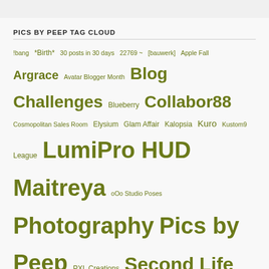PICS BY PEEP TAG CLOUD
!bang *Birth* 30 posts in 30 days 22769 ~ [bauwerk] Apple Fall Argrace Avatar Blogger Month Blog Challenges Blueberry Collabor88 Cosmopolitan Sales Room Elysium Glam Affair Kalopsia Kuro Kustom9 League LumiPro HUD Maitreya oOo Studio Poses Photography Pics by Peep PXL Creations Second Life Second Life Fashion self-portrait Shiny Shabby Shopping in Second Life Strawberry Singh The Arcade TLC Uber [LeLutka]